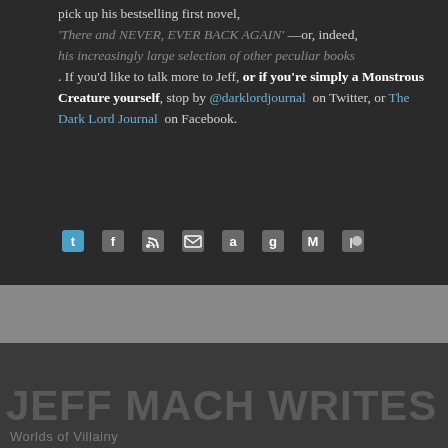pick up his bestselling first novel, 'There and NEVER, EVER BACK AGAIN' —or, indeed, his increasingly large selection of other peculiar books. If you'd like to talk more to Jeff, or if you're simply a Monstrous Creature yourself, stop by @darklordjournal on Twitter, or The Dark Lord Journal on Facebook.
[Figure (infographic): Row of social media and platform icons: Twitter bird, Facebook f, RSS feed, email envelope, Amazon a, Goodreads g, Medium M, Patreon P]
JEFF MACH WRITES
Worlds of Villainy